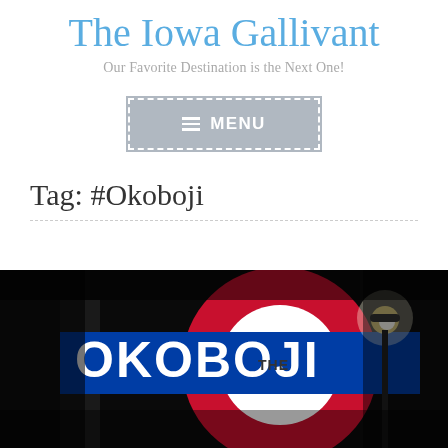The Iowa Gallivant
Our Favorite Destination is the Next One!
[Figure (screenshot): Gray menu button with dashed white border, hamburger icon and text 'MENU']
Tag: #Okoboji
[Figure (photo): Night photo of an illuminated sign reading 'OKOBOJI' in white text on blue background with a red and white circular logo element, resembling a London Underground roundel. A street lamp glows in the upper right.]